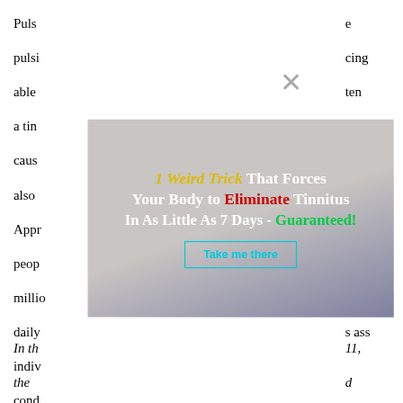Puls
pulsi
able
a tin
caus
also
Appr
peop
milli
daily
indiv
cond
frust
The
e
cing
ten
nitus
e.
nost
ut 12
heir
air,
ass
[Figure (infographic): Advertisement popup overlay showing a woman holding her head with text: '1 Weird Trick That Forces Your Body to Eliminate Tinnitus In As Little As 7 Days - Guaranteed!' with a 'Take me there' button. A close (X) button is visible in the top right of the popup.]
In th
the
to th
con
sec
the
11,
d
a
for